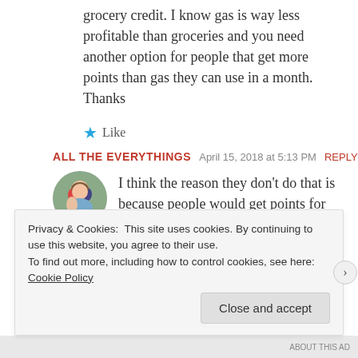grocery credit. I know gas is way less profitable than groceries and you need another option for people that get more points than gas they can use in a month. Thanks
Like
ALL THE EVERYTHINGS  April 15, 2018 at 5:13 PM  REPLY →
I think the reason they don't do that is because people would get points for buying a gift card and then get more
Privacy & Cookies: This site uses cookies. By continuing to use this website, you agree to their use. To find out more, including how to control cookies, see here: Cookie Policy
Close and accept